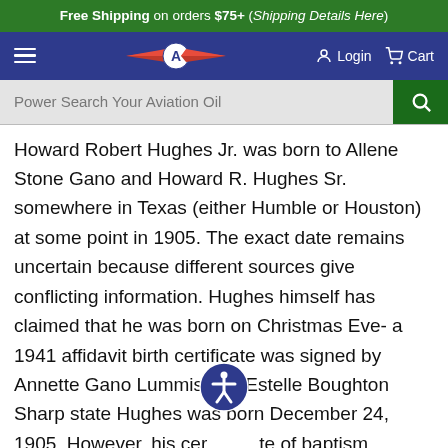Free Shipping on orders $75+ (Shipping Details Here)
[Figure (screenshot): Navigation bar with hamburger menu, aviation logo, Login and Cart buttons on dark navy background]
[Figure (screenshot): Search bar with placeholder 'Power Search Your Aviation Oil' and green search button]
Howard Robert Hughes Jr. was born to Allene Stone Gano and Howard R. Hughes Sr. somewhere in Texas (either Humble or Houston) at some point in 1905. The exact date remains uncertain because different sources give conflicting information. Hughes himself has claimed that he was born on Christmas Eve- a 1941 affidavit birth certificate was signed by Annette Gano Lummis and Estelle Boughton Sharp state Hughes was born December 24, 1905. However, his certificate of baptism (recorded October 7, 1906) from St. John's